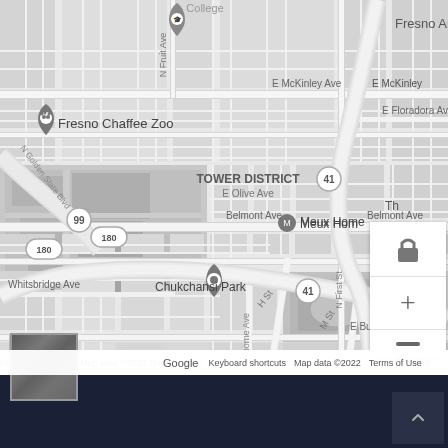[Figure (map): Google Maps screenshot showing the Tower District and Fresno Chaffee Zoo area in Fresno, California. Visible landmarks include Fresno Art Museum, Tower District, Fresno Chaffee Zoo, Meux Home, Chukchansi Park, and various street names including E McKinley Ave, E Olive Ave, Belmont Ave, Divisadero St, H St, M St, Whitsbridge Ave, E Butler Ave, N Fruit Ave, N First St, S Thorne Ave, N Golden State Blvd. Route markers for 99, 180, and 41 are visible. Map controls (lock, zoom in, zoom out) appear in the bottom right. Google branding, Keyboard shortcuts, Map data ©2022, Terms of Use appear at the bottom of the map. A satellite view thumbnail appears in the lower left corner.]
[Figure (other): Dark navy/dark blue footer bar at the bottom of the page with a back-to-top arrow button in the lower right corner.]